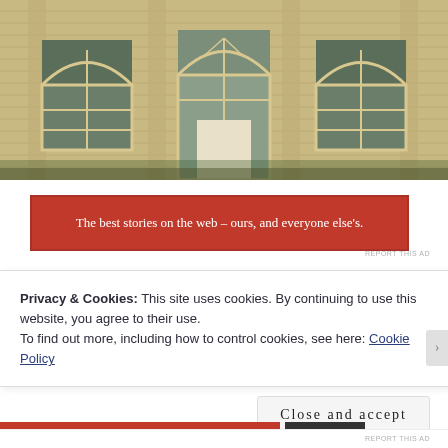[Figure (photo): Facade of a classical French stone building with arched windows, pilasters, and a white arched doorway in the center]
[Figure (infographic): Red advertisement banner with white text reading: The best stories on the web – ours, and everyone else's.]
Privacy & Cookies: This site uses cookies. By continuing to use this website, you agree to their use.
To find out more, including how to control cookies, see here: Cookie Policy
Close and accept